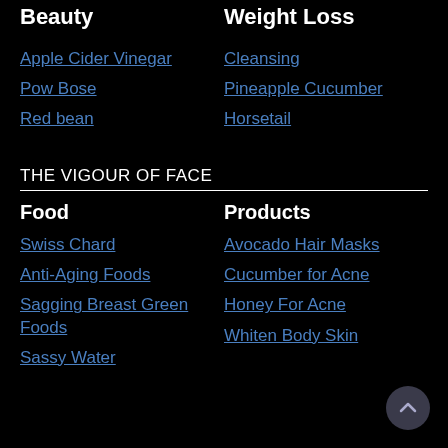Beauty
Weight Loss
Apple Cider Vinegar
Cleansing
Pow Bose
Pineapple Cucumber
Red bean
Horsetail
THE VIGOUR OF FACE
Food
Products
Swiss Chard
Avocado Hair Masks
Anti-Aging Foods
Cucumber for Acne
Sagging Breast Green Foods
Honey For Acne
Whiten Body Skin
Sassy Water